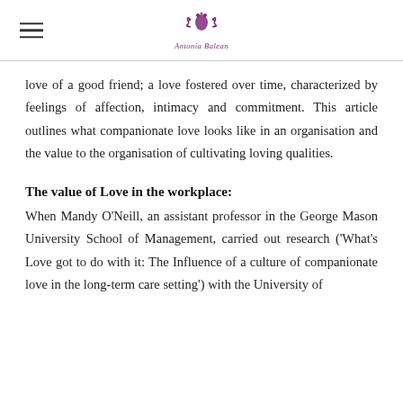Antonia Balean [logo]
love of a good friend; a love fostered over time, characterized by feelings of affection, intimacy and commitment. This article outlines what companionate love looks like in an organisation and the value to the organisation of cultivating loving qualities.
The value of Love in the workplace:
When Mandy O'Neill, an assistant professor in the George Mason University School of Management, carried out research ('What's Love got to do with it: The Influence of a culture of companionate love in the long-term care setting') with the University of